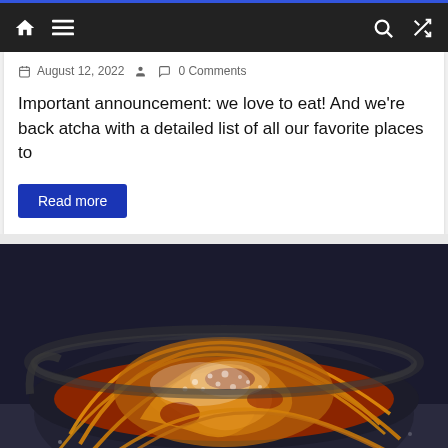Navigation bar with home, menu, search, and shuffle icons
August 12, 2022  0 Comments
Important announcement: we love to eat! And we're back atcha with a detailed list of all our favorite places to
Read more
[Figure (photo): Close-up photo of a bowl of spaghetti bolognese with tomato sauce and grated parmesan cheese on top, served in a dark bowl on a dark surface.]